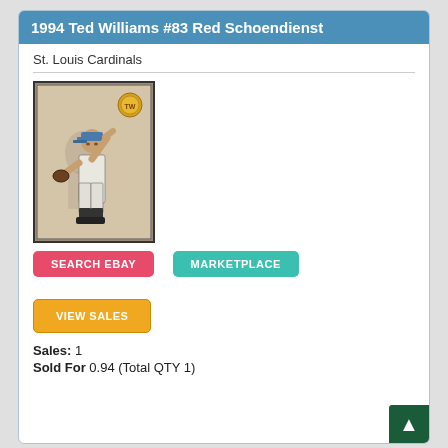1994 Ted Williams #83 Red Schoendienst
St. Louis Cardinals
[Figure (photo): Baseball card photo of Red Schoendienst in a pitching pose, wearing a baseball uniform with a cap, black and white photo style on a card with a decorative border]
SEARCH EBAY
MARKETPLACE
VIEW SALES
Sales: 1
Sold For 0.94 (Total QTY 1)